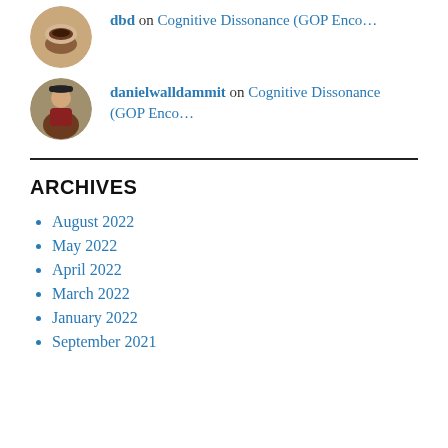dbd on Cognitive Dissonance (GOP Enco…
danielwalldammit on Cognitive Dissonance (GOP Enco…
ARCHIVES
August 2022
May 2022
April 2022
March 2022
January 2022
September 2021